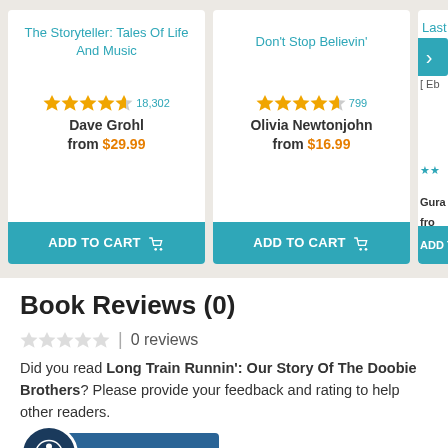[Figure (screenshot): Product card: The Storyteller: Tales Of Life And Music, 4.5 stars (18,302 reviews), Dave Grohl, from $29.99, Add to Cart button]
[Figure (screenshot): Product card: Don't Stop Believin', 4.5 stars (799 reviews), Olivia Newtonjohn, from $16.99, Add to Cart button]
[Figure (screenshot): Partial product card: Last [Tra...], 2 stars, Gura..., from..., Add T... button with next arrow]
Book Reviews (0)
0 reviews
Did you read Long Train Runnin': Our Story Of The Doobie Brothers? Please provide your feedback and rating to help other readers.
WRITE REVIEW
No customer reviews for the moment.